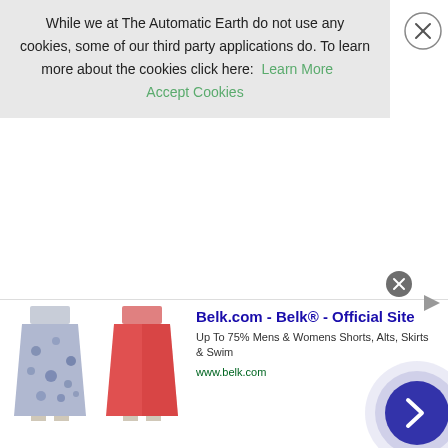While we at The Automatic Earth do not use any cookies, some of our third party applications do. To learn more about the cookies click here: Learn More   Accept Cookies
[Figure (screenshot): Cookie consent banner with close button (X in circle), Learn More and Accept Cookies links in green]
[Figure (screenshot): Ad banner for Belk.com showing two clothing items (blue floral skirt and red skirt), ad text 'Belk.com - Belk® - Official Site', subtitle 'Up To 75% Mens & Womens Shorts, Alts, Skirts & Swim', URL www.belk.com, with navigation arrow circle button]